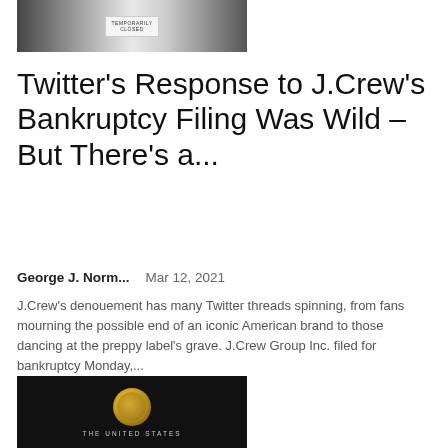[Figure (photo): Top image showing a temporarily closed sign on a storefront]
Twitter's Response to J.Crew's Bankruptcy Filing Was Wild – But There's a...
George J. Norm...    Mar 12, 2021
J.Crew's denouement has many Twitter threads spinning, from fans mourning the possible end of an iconic American brand to those dancing at the preppy label's grave. J.Crew Group Inc. filed for bankruptcy Monday,...
[Figure (photo): Bottom image showing a dark background with a gold government seal and text 'THE UNITED STATES']